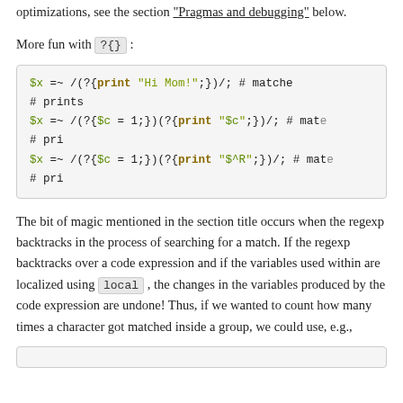optimizations, see the section "Pragmas and debugging" below.
More fun with ?{} :
[Figure (screenshot): Code block showing Perl regex code examples with (?{...}) constructs: $x =~ /(?{print "Hi Mom!";})/;  # matche... # prints... $x =~ /(?{$c = 1;})(?{print "$c";})/;  # mate... # pri... $x =~ /(?{$c = 1;})(?{print "$^R";})/; # mate... # pri...]
The bit of magic mentioned in the section title occurs when the regexp backtracks in the process of searching for a match. If the regexp backtracks over a code expression and if the variables used within are localized using local , the changes in the variables produced by the code expression are undone! Thus, if we wanted to count how many times a character got matched inside a group, we could use, e.g.,
[Figure (screenshot): Bottom code block (partially visible, empty)]